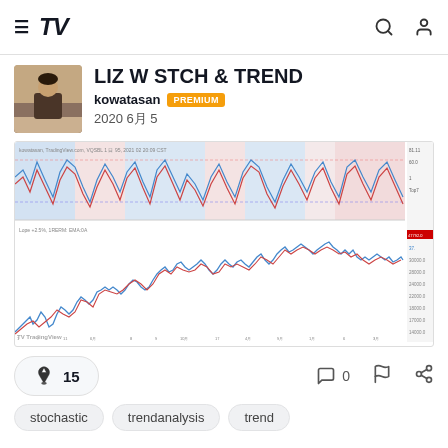TradingView navigation bar with hamburger menu, TV logo, search and profile icons
LIZ W STCH & TREND
kowatasan  PREMIUM
2020 6月 5
[Figure (continuous-plot): TradingView chart showing stochastic oscillator in upper panel with blue/red shaded regions, and price/trend lines in lower panel showing upward trend. Chart spans multiple time periods with blue and red overlay lines.]
🚀 15
0
stochastic
trendanalysis
trend